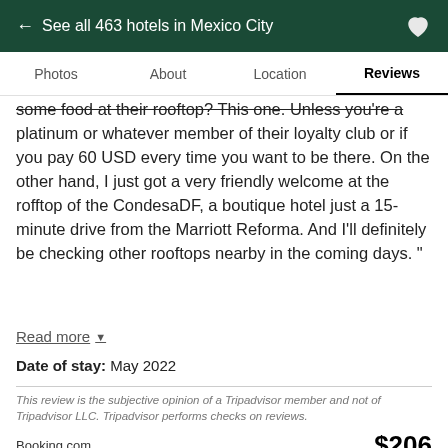← See all 463 hotels in Mexico City
Photos  About  Location  Reviews
some food at their rooftop? This one. Unless you're a platinum or whatever member of their loyalty club or if you pay 60 USD every time you want to be there. On the other hand, I just got a very friendly welcome at the rofftop of the CondesaDF, a boutique hotel just a 15-minute drive from the Marriott Reforma. And I'll definitely be checking other rooftops nearby in the coming days. "
Read more
Date of stay: May 2022
This review is the subjective opinion of a Tripadvisor member and not of Tripadvisor LLC. Tripadvisor performs checks on reviews.
Booking.com $206